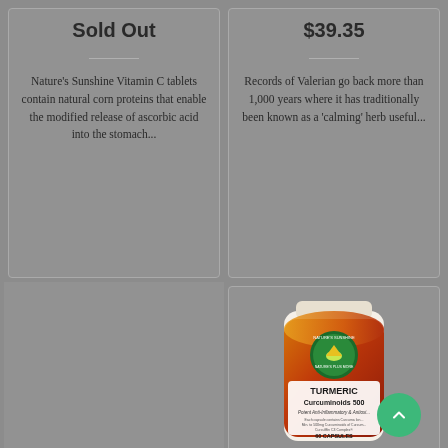Sold Out
Nature's Sunshine Vitamin C tablets contain natural corn proteins that enable the modified release of ascorbic acid into the stomach...
$39.35
Records of Valerian go back more than 1,000 years where it has traditionally been known as a 'calming' herb useful...
[Figure (photo): Nature's Sunshine Turmeric Curcuminoids 500 supplement bottle - 60 capsules, labeled as Potent Anti-Inflammatory & Antioxidant, with Nature's Sunshine logo]